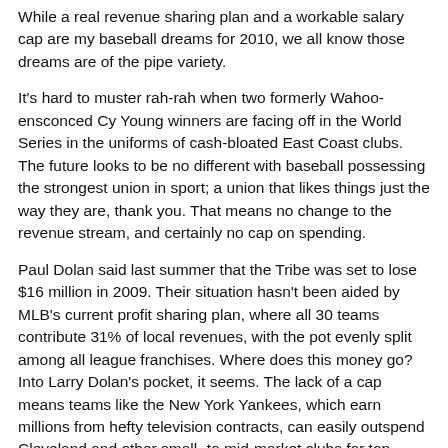While a real revenue sharing plan and a workable salary cap are my baseball dreams for 2010, we all know those dreams are of the pipe variety.
It's hard to muster rah-rah when two formerly Wahoo-ensconced Cy Young winners are facing off in the World Series in the uniforms of cash-bloated East Coast clubs. The future looks to be no different with baseball possessing the strongest union in sport; a union that likes things just the way they are, thank you. That means no change to the revenue stream, and certainly no cap on spending.
Paul Dolan said last summer that the Tribe was set to lose $16 million in 2009. Their situation hasn't been aided by MLB's current profit sharing plan, where all 30 teams contribute 31% of local revenues, with the pot evenly split among all league franchises. Where does this money go? Into Larry Dolan's pocket, it seems. The lack of a cap means teams like the New York Yankees, which earn millions from hefty television contracts, can easily outspend Cleveland and other small- to mid-market clubs for top talent.